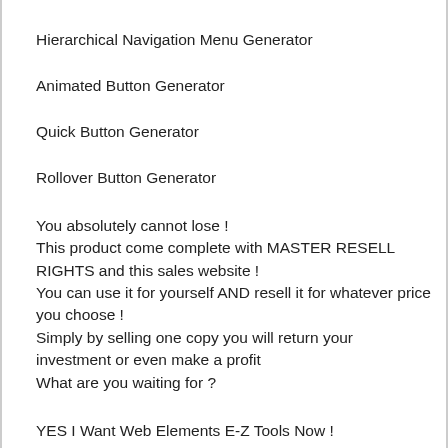Hierarchical Navigation Menu Generator
Animated Button Generator
Quick Button Generator
Rollover Button Generator
You absolutely cannot lose !
This product come complete with MASTER RESELL RIGHTS and this sales website !
You can use it for yourself AND resell it for whatever price you choose !
Simply by selling one copy you will return your investment or even make a profit
What are you waiting for ?
YES I Want Web Elements E-Z Tools Now !